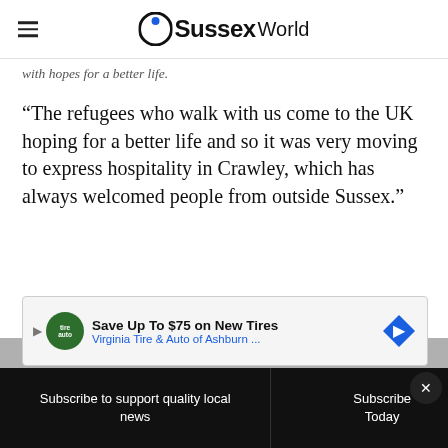Sussex World
with hopes for a better life.
“The refugees who walk with us come to the UK hoping for a better life and so it was very moving to express hospitality in Crawley, which has always welcomed people from outside Sussex.”
See more: Hundreds of Ukrainians living in Crawley
[Figure (infographic): Advertisement banner: Save Up To $75 on New Tires - Virginia Tire & Auto of Ashburn ...]
Subscribe to support quality local news | Subscribe Today